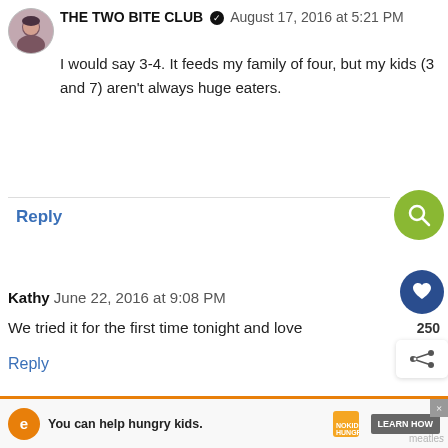THE TWO BITE CLUB ✓  August 17, 2016 at 5:21 PM
I would say 3-4. It feeds my family of four, but my kids (3 and 7) aren't always huge eaters.
Reply
Kathy  June 22, 2016 at 9:08 PM
We tried it for the first time tonight and love
Reply
WHAT'S NEXT → Sheet Pan Eggplant...
You can help hungry kids.  NOKID HUNGRY  LEARN HOW